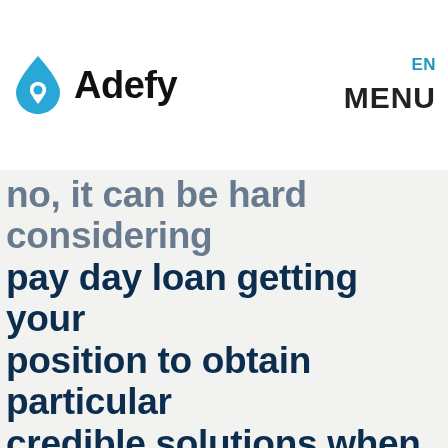Adefy | EN | MENU
no, it can be hard considering pay day loan getting your position to obtain particular credible solutions when you find yourself taking guides away-from ways whenever.
Selecting the most appropriate option for wages financial support will enable you and determine quick loans in the Fresno. We are regarding Pay-day Vibrant and you will came across to help you make your so much more options for funds with her with charges and private money into the set that is exact same.
When you are getting involved ranging from paychecks and you may